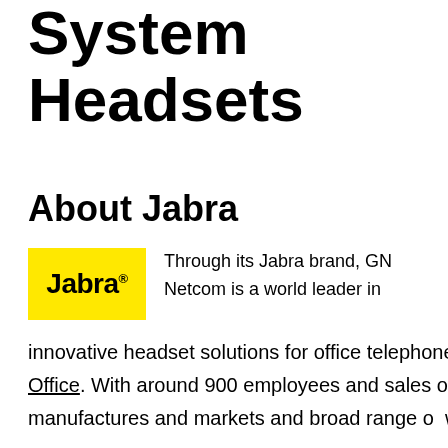System Headsets
About Jabra
[Figure (logo): Jabra brand logo — yellow rectangle with bold black 'Jabra' text and registered trademark symbol]
Through its Jabra brand, GN Netcom is a world leader in innovative headset solutions for office telephone systems such as Polycom phones and Avaya IP Office. With around 900 employees and sales offices around the world, GN Netcom develops, manufactures and markets and broad range of wireless headsets and speakerphones for mob...